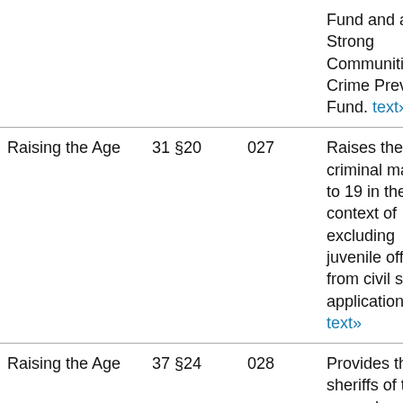| Topic | Section | ID | Description |
| --- | --- | --- | --- |
|  |  |  | Fund and a Strong Communities Crime Prevention Fund. text» |
| Raising the Age | 31 §20 | 027 | Raises the age of criminal majority to 19 in the context of excluding juvenile offenses from civil service applications. text» |
| Raising the Age | 37 §24 | 028 | Provides that sheriffs of the several counties and their respective deputies, sha... |